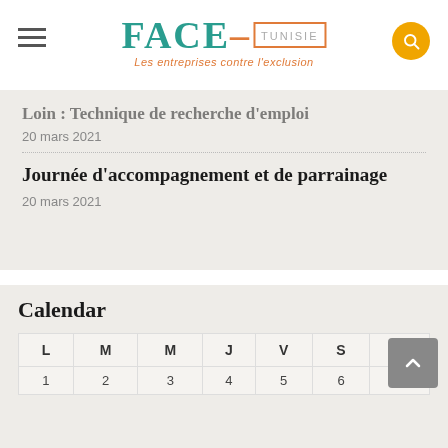FACE TUNISIE — Les entreprises contre l'exclusion
Loin : Technique de recherche d'emploi
20 mars 2021
Journée d'accompagnement et de parrainage
20 mars 2021
Calendar
| L | M | M | J | V | S | D |
| --- | --- | --- | --- | --- | --- | --- |
| 1 | 2 | 3 | 4 | 5 | 6 | 7 |